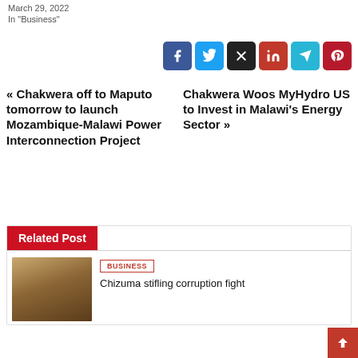March 29, 2022
In "Business"
[Figure (infographic): Social share buttons row: Facebook (blue), Twitter (light blue), X (black), LinkedIn (red), Telegram (cyan), Pinterest (dark red)]
« Chakwera off to Maputo tomorrow to launch Mozambique-Malawi Power Interconnection Project
Chakwera Woos MyHydro US to Invest in Malawi's Energy Sector »
Related Post
[Figure (photo): A person wearing glasses, dark complexion, partial face view]
BUSINESS
Chizuma stifling corruption fight